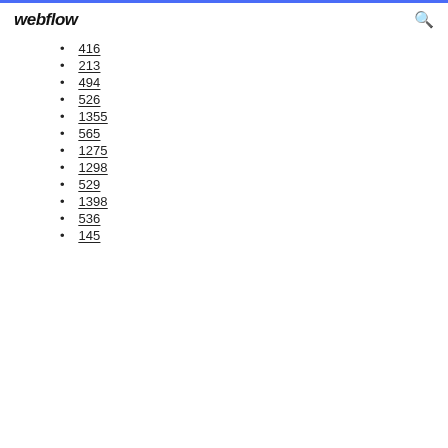webflow
416
213
494
526
1355
565
1275
1298
529
1398
536
145